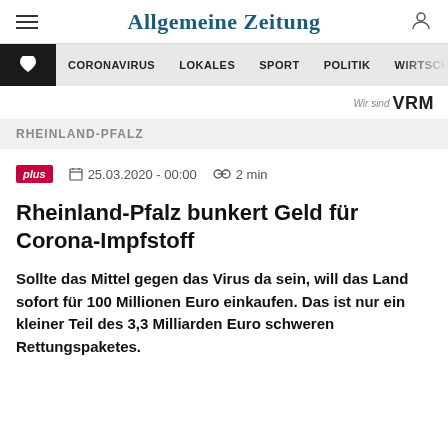Allgemeine Zeitung
CORONAVIRUS  LOKALES  SPORT  POLITIK  WIRTSCH
Wir sind VRM
RHEINLAND-PFALZ
plus  25.03.2020 - 00:00  2 min
Rheinland-Pfalz bunkert Geld für Corona-Impfstoff
Sollte das Mittel gegen das Virus da sein, will das Land sofort für 100 Millionen Euro einkaufen. Das ist nur ein kleiner Teil des 3,3 Milliarden Euro schweren Rettungspaketes.